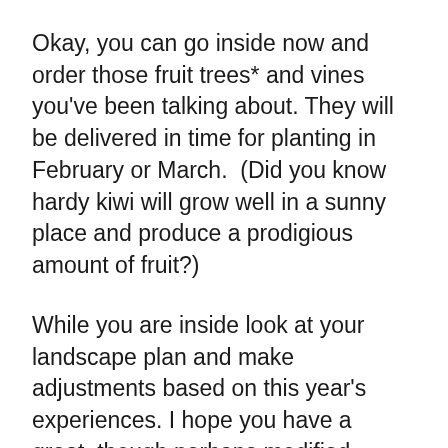Okay, you can go inside now and order those fruit trees* and vines you've been talking about. They will be delivered in time for planting in February or March.  (Did you know hardy kiwi will grow well in a sunny place and produce a prodigious amount of fruit?)
While you are inside look at your landscape plan and make adjustments based on this year's experiences. I hope you have a great, though perhaps modified, Thanksgiving. Cook enough to share with someone who wouldn't otherwise have any.